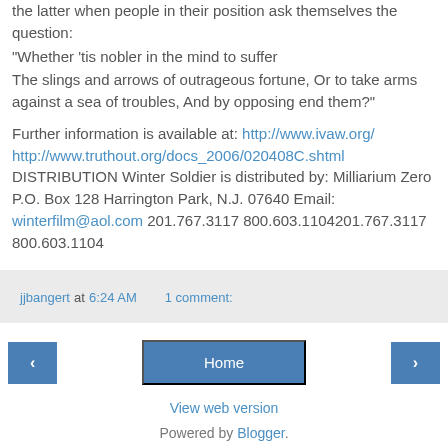the latter when people in their position ask themselves the question:
"Whether 'tis nobler in the mind to suffer
The slings and arrows of outrageous fortune, Or to take arms against a sea of troubles, And by opposing end them?"

Further information is available at: http://www.ivaw.org/
http://www.truthout.org/docs_2006/020408C.shtml
DISTRIBUTION Winter Soldier is distributed by: Milliarium Zero P.O. Box 128 Harrington Park, N.J. 07640 Email: winterfilm@aol.com 201.767.3117 800.603.1104201.767.3117 800.603.1104
jjbangert at 6:24 AM   1 comment:
[Figure (screenshot): Navigation buttons: left arrow, Home, right arrow]
View web version
Powered by Blogger.